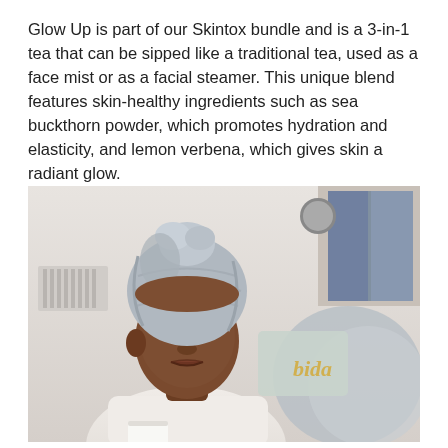Glow Up is part of our Skintox bundle and is a 3-in-1 tea that can be sipped like a traditional tea, used as a face mist or as a facial steamer. This unique blend features skin-healthy ingredients such as sea buckthorn powder, which promotes hydration and elasticity, and lemon verbena, which gives skin a radiant glow.
[Figure (photo): A young Black woman with a light grey towel wrapped around her head, wearing a white lace robe, looking directly at the camera. She is seated in a cozy room with pillows and soft furnishings visible in the background.]